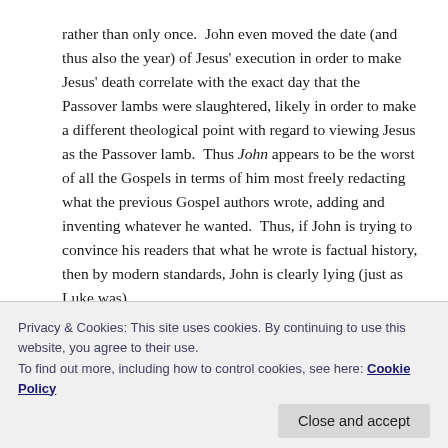rather than only once.  John even moved the date (and thus also the year) of Jesus' execution in order to make Jesus' death correlate with the exact day that the Passover lambs were slaughtered, likely in order to make a different theological point with regard to viewing Jesus as the Passover lamb.  Thus John appears to be the worst of all the Gospels in terms of him most freely redacting what the previous Gospel authors wrote, adding and inventing whatever he wanted.  Thus, if John is trying to convince his readers that what he wrote is factual history, then by modern standards, John is clearly lying (just as Luke was).
Privacy & Cookies: This site uses cookies. By continuing to use this website, you agree to their use.
To find out more, including how to control cookies, see here: Cookie Policy
aware that somebody later on rearranged the Gospel,